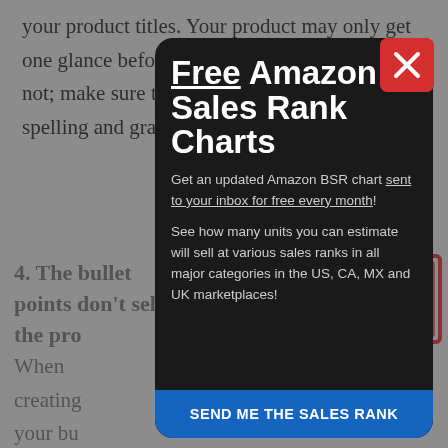your product titles. Your product may only get one glance before the shopper decides to buy or not; make sure that they aren't pushed away by spelling and grammar mistakes.
4. The bullet points don't sell the product
When ... creating ... your bullet ... points, ... focus n...
[Figure (screenshot): A dark popup modal overlaid on the background article text. The popup contains the title 'Free Amazon Sales Rank Charts' (with 'Free' underlined), body text about getting an Amazon BSR chart sent to inbox for free every month, a description about estimating units sold at various sales ranks in US, CA, MX and UK marketplaces, and a blue CTA button at the bottom reading 'SEND ME THE SALES RANK'. A red close button with an X is in the top right corner of the popup. A red stamp overlay is partially visible in the lower right.]